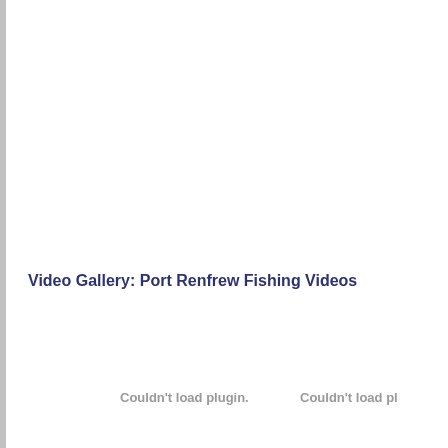Video Gallery: Port Renfrew Fishing Videos
Couldn't load plugin.
Couldn't load pl